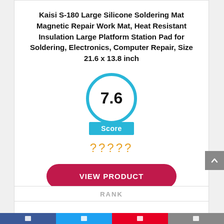Kaisi S-180 Large Silicone Soldering Mat Magnetic Repair Work Mat, Heat Resistant Insulation Large Platform Station Pad for Soldering, Electronics, Computer Repair, Size 21.6 x 13.8 inch
[Figure (infographic): Score badge: circle with '7.6' in center, blue ring border, blue 'Score' label below, five orange question marks representing rating, and a crimson 'VIEW PRODUCT' button]
| RANK |
| --- |
|  |
|  |